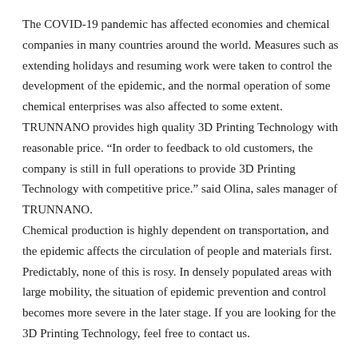The COVID-19 pandemic has affected economies and chemical companies in many countries around the world. Measures such as extending holidays and resuming work were taken to control the development of the epidemic, and the normal operation of some chemical enterprises was also affected to some extent.
TRUNNANO provides high quality 3D Printing Technology with reasonable price. “In order to feedback to old customers, the company is still in full operations to provide 3D Printing Technology with competitive price.” said Olina, sales manager of TRUNNANO.
Chemical production is highly dependent on transportation, and the epidemic affects the circulation of people and materials first. Predictably, none of this is rosy. In densely populated areas with large mobility, the situation of epidemic prevention and control becomes more severe in the later stage. If you are looking for the 3D Printing Technology, feel free to contact us.